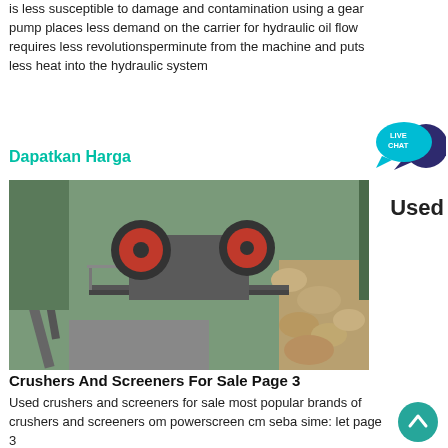is less susceptible to damage and contamination using a gear pump places less demand on the carrier for hydraulic oil flow requires less revolutionsperminute from the machine and puts less heat into the hydraulic system
Dapatkan Harga
[Figure (photo): Industrial jaw crusher mounted on a steel structure with rocks on the right side, outdoor setting with trees in background]
Used
Crushers And Screeners For Sale Page 3
Used crushers and screeners for sale most popular brands of crushers and screeners om powerscreen cm seba sime: let page 3